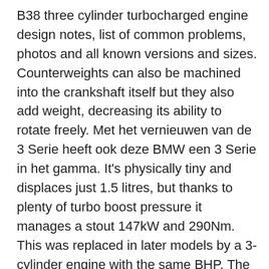B38 three cylinder turbocharged engine design notes, list of common problems, photos and all known versions and sizes. Counterweights can also be machined into the crankshaft itself but they also add weight, decreasing its ability to rotate freely. Met het vernieuwen van de 3 Serie heeft ook deze BMW een 3 Serie in het gamma. It's physically tiny and displaces just 1.5 litres, but thanks to plenty of turbo boost pressure it manages a stout 147kW and 290Nm. This was replaced in later models by a 3-cylinder engine with the same BHP. The single row timing chain is at the back of the engine. The turbo is water cooled, not oil cooled. BMW is embarking off on a whole new engine architecture and BMWBLOG was fortunate to get a preview drive. This means that there will be a significant proportion of crankshaft rotation (60 degrees) when no power stroke is occurring. Dec 29, 2020 . Horatiu Boeriu. The M52B28 engine easily can be overheated. Dus 3 cylinders van 500 cc produceren, bij gelijk maximum toerental, minder vermogen dan